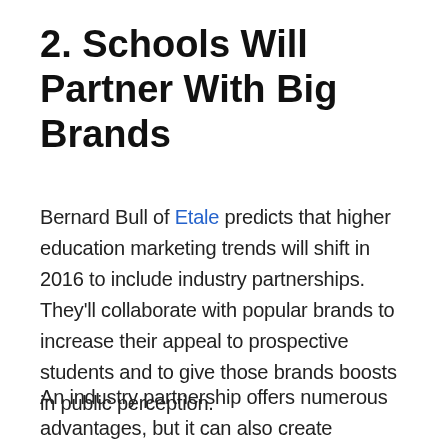2. Schools Will Partner With Big Brands
Bernard Bull of Etale predicts that higher education marketing trends will shift in 2016 to include industry partnerships. They'll collaborate with popular brands to increase their appeal to prospective students and to give those brands boosts in public perception.
An industry partnership offers numerous advantages, but it can also create potential